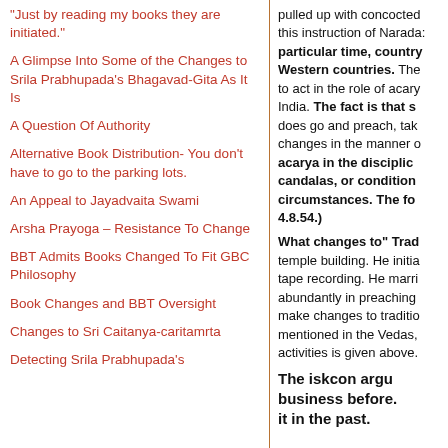"Just by reading my books they are initiated."
A Glimpse Into Some of the Changes to Srila Prabhupada's Bhagavad-Gita As It Is
A Question Of Authority
Alternative Book Distribution- You don't have to go to the parking lots.
An Appeal to Jayadvaita Swami
Arsha Prayoga – Resistance To Change
BBT Admits Books Changed To Fit GBC Philosophy
Book Changes and BBT Oversight
Changes to Sri Caitanya-caritamrta
Detecting Srila Prabhupada's
pulled up with concocted this instruction of Narada: particular time, country Western countries. The to act in the role of acary India. The fact is that s does go and preach, tak changes in the manner o acarya in the disciplic candalas, or condition circumstances. The fo 4.8.54.)
What changes to" Trad temple building. He initia tape recording. He marri abundantly in preaching make changes to traditio mentioned in the Vedas, activities is given above.
The iskcon argu business before. it in the past.